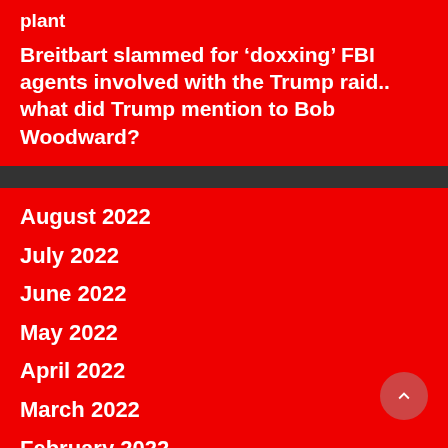plant
Breitbart slammed for ‘doxxing’ FBI agents involved with the Trump raid.. what did Trump mention to Bob Woodward?
August 2022
July 2022
June 2022
May 2022
April 2022
March 2022
February 2022
January 2022
December 2021